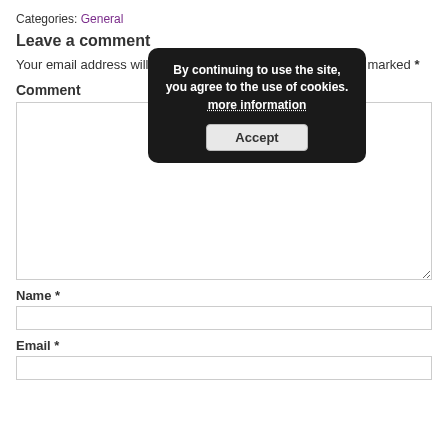Categories: General
Leave a comment
Your email address will not be published. Required fields are marked *
[Figure (screenshot): Cookie consent popup with text 'By continuing to use the site, you agree to the use of cookies. more information' and an Accept button]
Comment
(Comment textarea field)
Name *
(Name input field)
Email *
(Email input field)